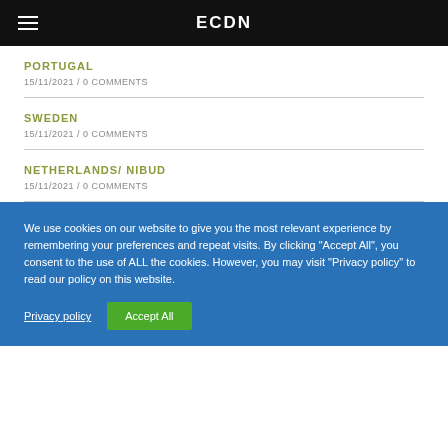ECDN
PORTUGAL
15/11/2021 /  0 COMMENTS
SWEDEN
15/11/2021 /  0 COMMENTS
NETHERLANDS/ NIBUD
15/11/2021 /  0 COMMENTS
We use cookies on our website to give you the most relevant experience by remembering your preferences and repeat visits. By clicking "Accept All", you consent to the use of ALL the cookies. However, you may visit "Privacy policy" to read our policy on this website.
Privacy policy   Accept All